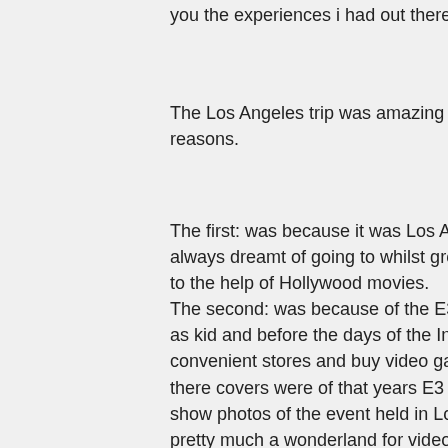you the experiences i had out there.
The Los Angeles trip was amazing for me for ‘two’ main reasons.
The first: was because it was Los Angeles – a place that I’ve always dreamt of going to whilst growing up as a kid, thanks to the help of Hollywood movies.
The second: was because of the E3 Event itself. Growing up as kid and before the days of the Internet I used to go into convenient stores and buy video game magazines where there covers were of that years E3 event. The articles would show photos of the event held in Los Angeles and it was pretty much a wonderland for video game lovers. As a kid reading these magazines and daydreaming away I never thought in a million years that I would have the opportunity to go and see E3 for myself, let alone be